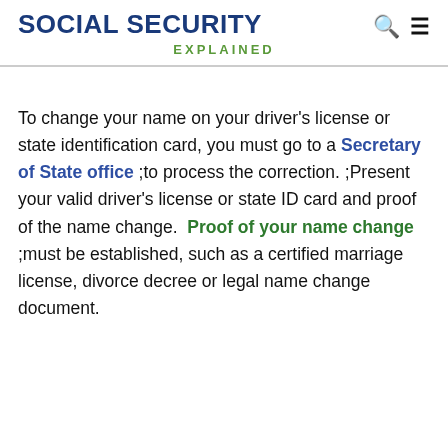SOCIAL SECURITY EXPLAINED
To change your name on your driver's license or state identification card, you must go to a Secretary of State office ;to process the correction. ;Present your valid driver's license or state ID card and proof of the name change. Proof of your name change ;must be established, such as a certified marriage license, divorce decree or legal name change document.